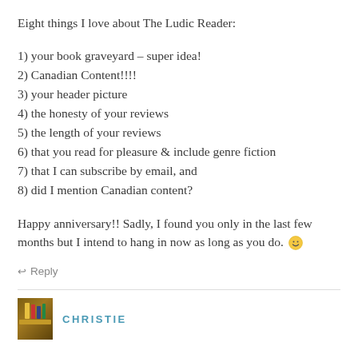Eight things I love about The Ludic Reader:
1) your book graveyard – super idea!
2) Canadian Content!!!!
3) your header picture
4) the honesty of your reviews
5) the length of your reviews
6) that you read for pleasure & include genre fiction
7) that I can subscribe by email, and
8) did I mention Canadian content?
Happy anniversary!! Sadly, I found you only in the last few months but I intend to hang in now as long as you do. 🙂
↩ Reply
CHRISTIE